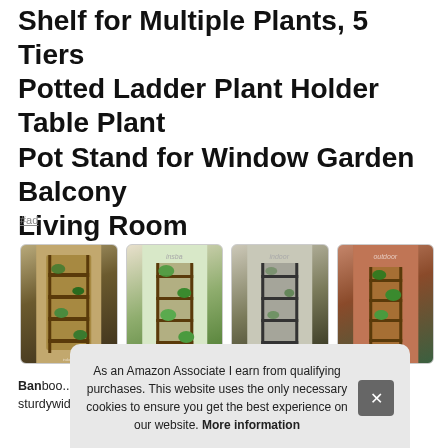Shelf for Multiple Plants, 5 Tiers Potted Ladder Plant Holder Table Plant Pot Stand for Window Garden Balcony Living Room
#ad
[Figure (photo): Four thumbnail images of a wooden multi-tier plant stand shown with plants in different settings: front view with measurements, indoor with green plants, indoor sparse view, and outdoor against brick wall.]
Bamboo... plastic... an a... your...
sturdywider width 12 inch and clever use of the triangle
As an Amazon Associate I earn from qualifying purchases. This website uses the only necessary cookies to ensure you get the best experience on our website. More information